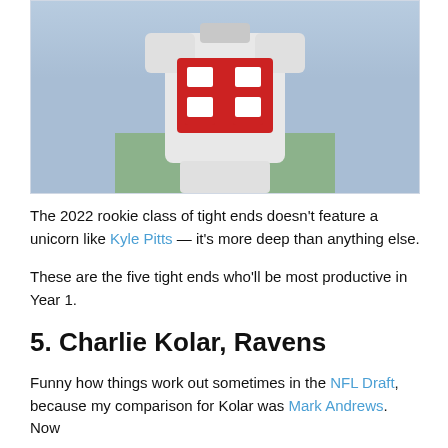[Figure (photo): A football player wearing jersey number 88 in white and red, viewed from behind, with a green field background]
The 2022 rookie class of tight ends doesn't feature a unicorn like Kyle Pitts — it's more deep than anything else.
These are the five tight ends who'll be most productive in Year 1.
5. Charlie Kolar, Ravens
Funny how things work out sometimes in the NFL Draft, because my comparison for Kolar was Mark Andrews. Now